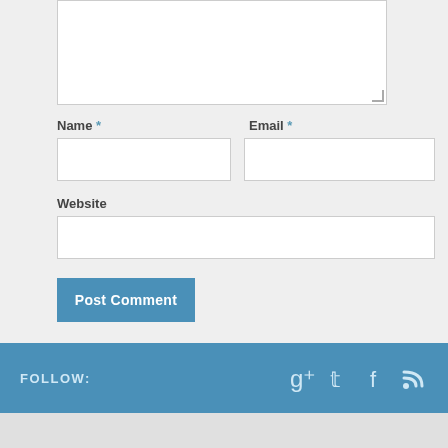[Figure (screenshot): Web comment form with fields for Name, Email, Website, a textarea, and a Post Comment button]
Name *
Email *
Website
Post Comment
FOLLOW: